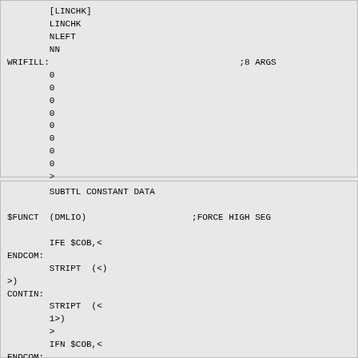[LINCHK]
        LINCHK
        NLEFT
        NN
WRIFILL:                                    ;8 ARGS
        0
        0
        0
        0
        0
        0
        0
        0
        >
SUBTTL CONSTANT DATA

$FUNCT  (DMLIO)                    ;FORCE HIGH SEG

        IFE $COB,<
ENDCOM:
        STRIPT  (<)
>)
CONTIN:
        STRIPT  (<
        1>)
        >
        IFN $COB,<
ENDCOM: